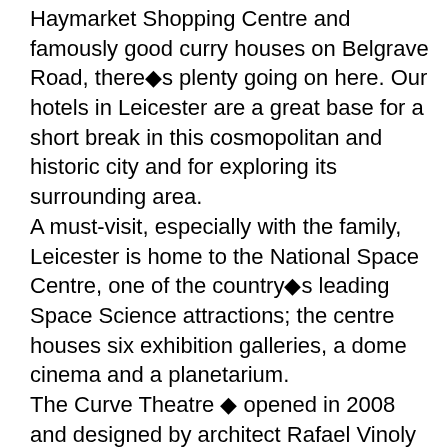Haymarket Shopping Centre and famously good curry houses on Belgrave Road, there◆s plenty going on here. Our hotels in Leicester are a great base for a short break in this cosmopolitan and historic city and for exploring its surrounding area. A must-visit, especially with the family, Leicester is home to the National Space Centre, one of the country◆s leading Space Science attractions; the centre houses six exhibition galleries, a dome cinema and a planetarium. The Curve Theatre ◆ opened in 2008 and designed by architect Rafael Vinoly ◆ is one of the most exciting arts venues in the region, regularly welcoming touring productions and staging new shows. Our Leicester hotels are also perfect for attending the annual Leicester Comedy Festival ◆ one of the most renowned in the world. The city also plays host to the largest Diwali celebrations outside of India and the UK◆s second largest Caribbean Carnival each year.